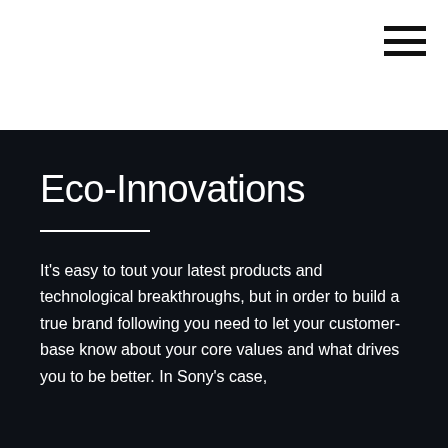[Figure (other): Hamburger menu icon with three horizontal black lines in the top-right corner]
Eco-Innovations
It's easy to tout your latest products and technological breakthroughs, but in order to build a true brand following you need to let your customer-base know about your core values and what drives you to be better. In Sony's case,